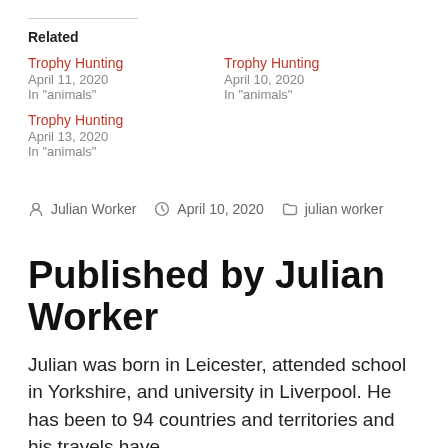Related
Trophy Hunting
April 11, 2020
In "animals"
Trophy Hunting
April 10, 2020
In "animals"
Trophy Hunting
April 13, 2020
In "animals"
By Julian Worker  April 10, 2020  julian worker
Published by Julian Worker
Julian was born in Leicester, attended school in Yorkshire, and university in Liverpool. He has been to 94 countries and territories and his travels have